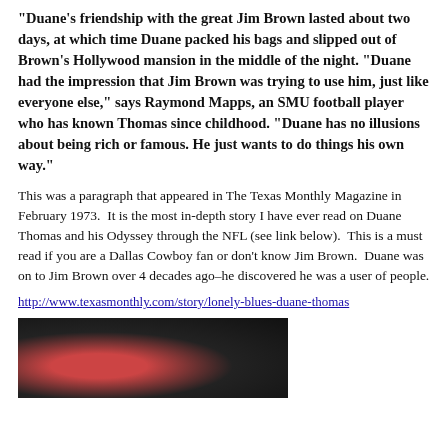“Duane’s friendship with the great Jim Brown lasted about two days, at which time Duane packed his bags and slipped out of Brown’s Hollywood mansion in the middle of the night. “Duane had the impression that Jim Brown was trying to use him, just like everyone else,” says Raymond Mapps, an SMU football player who has known Thomas since childhood. “Duane has no illusions about being rich or famous. He just wants to do things his own way.”
This was a paragraph that appeared in The Texas Monthly Magazine in February 1973.  It is the most in-depth story I have ever read on Duane Thomas and his Odyssey through the NFL (see link below).  This is a must read if you are a Dallas Cowboy fan or don’t know Jim Brown.  Duane was on to Jim Brown over 4 decades ago–he discovered he was a user of people.
http://www.texasmonthly.com/story/lonely-blues-duane-thomas
[Figure (photo): A dark photograph showing two people, one wearing a red and white helmet, partially visible at the bottom of the page.]